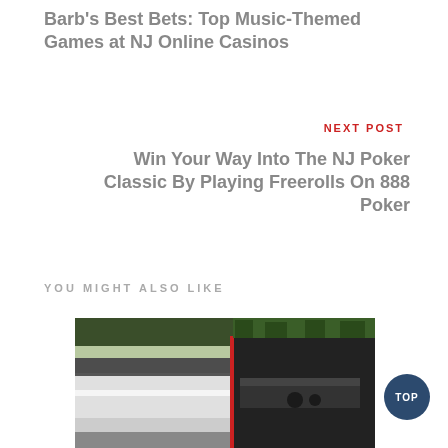Barb's Best Bets: Top Music-Themed Games at NJ Online Casinos
NEXT POST
Win Your Way Into The NJ Poker Classic By Playing Freerolls On 888 Poker
YOU MIGHT ALSO LIKE
[Figure (photo): A limo or vehicle with an open door/panel showing interior seating and equipment, photographed from outside.]